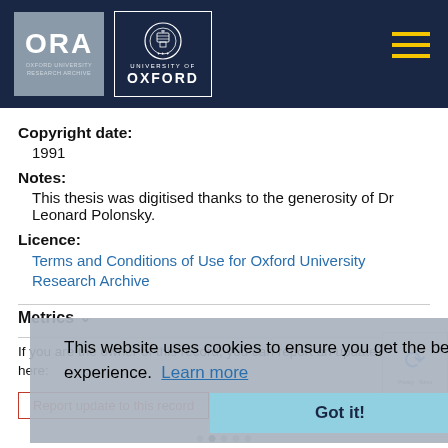[Figure (logo): ORA Oxford University Research Archive logo and University of Oxford crest logo on dark navy header bar with hamburger menu icon in gold]
Copyright date:
1991
Notes:
This thesis was digitised thanks to the generosity of Dr Leonard Polonsky.
Licence:
Terms and Conditions of Use for Oxford University Research Archive
Metrics
If you are the owner of this record, you can report an update to it here:
Report update to this record
This website uses cookies to ensure you get the best possible experience. Learn more
Got it!